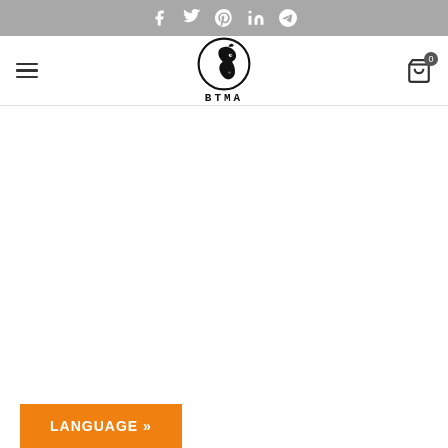Social media icons bar (Facebook, Twitter, Pinterest, LinkedIn, Telegram)
[Figure (logo): BTMA logo: a horse head inside a circle, with BTMA text below in monospace bold font]
LANGUAGE »